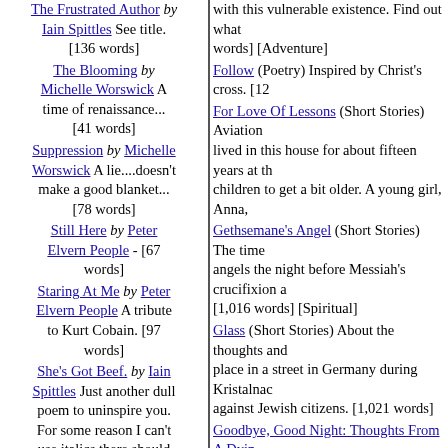The Frustrated Author by Iain Spittles See title. [136 words]
The Blooming by Michelle Worswick A time of renaissance... [41 words]
Suppression by Michelle Worswick A lie....doesn't make a good blanket... [78 words]
Still Here by Peter Elvern People - [67 words]
Staring At Me by Peter Elvern People A tribute to Kurt Cobain. [97 words]
She's Got Beef. by Iain Spittles Just another dull poem to uninspire you. For some reason I can't use italics there should be so... [73 words]
Self-Inflicted by Peter Elvern People Dedicated to my friend Julia, love you :) [124 words]
Ode To Mr. T by Iain Spittles Just a quick
with this vulnerable existence. Find out what [words] [Adventure]
Follow (Poetry) Inspired by Christ's cross. [12
For Love Of Lessons (Short Stories) Aviation lived in this house for about fifteen years at th children to get a bit older. A young girl, Anna,
Gethsemane's Angel (Short Stories) The time angels the night before Messiah's crucifixion a [1,016 words] [Spiritual]
Glass (Short Stories) About the thoughts and place in a street in Germany during Kristalnac against Jewish citizens. [1,021 words]
Goodbye, Good Night: Thoughts From A Dyin words] [Relationships]
Grounded (Short Stories) Aviation Series stor presents the Crance's with a few welcome an [Romance]
Hey Little Dreamer (Songs) This song shows always hope. I based it on Thomas Jefferson's you are. It's about the indomitable human spir
Hill Number 18 (Short Stories) A major recalls Vietnam. [1,225 words] [History]
House: A Brett Mccarley Locomotive Engineer house. [2,842 words] [Relationships]
Hypothetical Dialogs With Christ (Plays) I cou fiction with some theology mostly conversatio
Instrument Meteorological Conditions (Short friendship and common interest. Andrew and